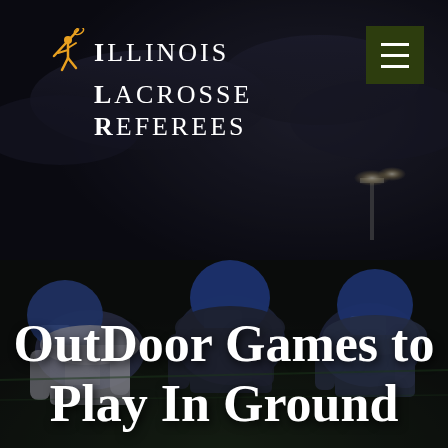[Figure (photo): Dark dramatic photo of three American football players in blue helmets and uniforms crouching in a ready stance on a field at night, with dark stormy sky background and stadium lights in distance.]
Illinois Lacrosse Referees
OutDoor Games to Play In Ground